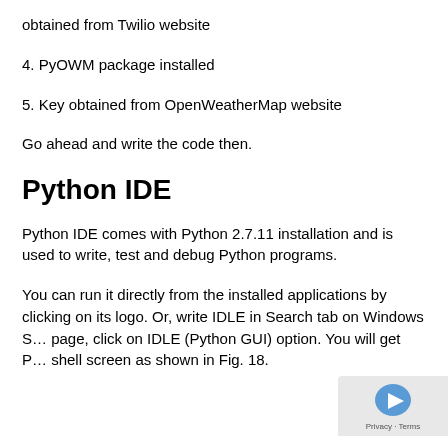obtained from Twilio website
4. PyOWM package installed
5. Key obtained from OpenWeatherMap website
Go ahead and write the code then.
Python IDE
Python IDE comes with Python 2.7.11 installation and is used to write, test and debug Python programs.
You can run it directly from the installed applications by clicking on its logo. Or, write IDLE in Search tab on Windows S… page, click on IDLE (Python GUI) option. You will get P… shell screen as shown in Fig. 18.